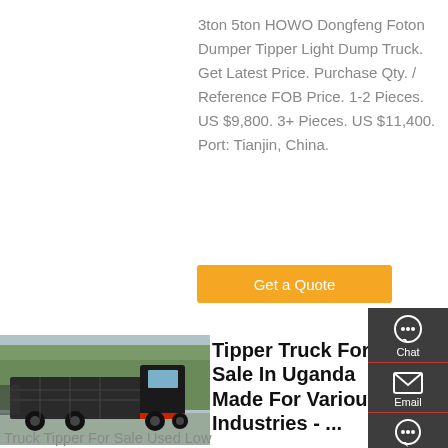3ton 5ton HOWO Dongfeng Foton Dumper Tipper Light Dump Truck. Get Latest Price. Purchase Qty. / Reference FOB Price. 1-2 Pieces. US $9,800. 3+ Pieces. US $11,400. Port: Tianjin, China.
Get a Quote
[Figure (photo): Dark colored heavy duty tipper/dump truck parked outdoors with trees in background]
Tipper Truck For Sale In Uganda Made For Various Industries - ...
Truck Tipper For Sale Used Low